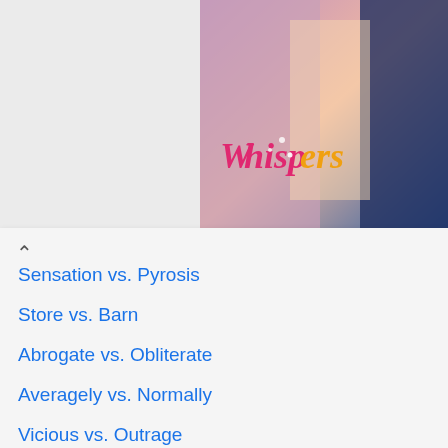[Figure (photo): Colorful promotional image showing romantic scenes with 'Whispers' title text in pink/yellow]
Sensation vs. Pyrosis
Store vs. Barn
Abrogate vs. Obliterate
Averagely vs. Normally
Vicious vs. Outrage
Skimpy vs. Small
Figurine vs. Effigy
Trending Comparisons